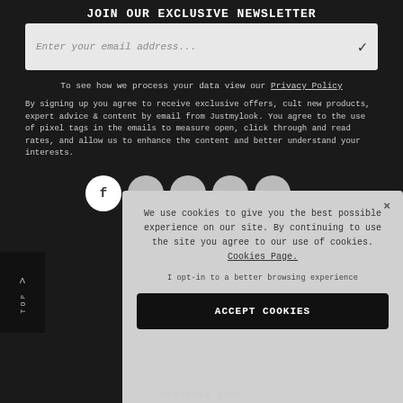JOIN OUR EXCLUSIVE NEWSLETTER
Enter your email address...
To see how we process your data view our Privacy Policy
By signing up you agree to receive exclusive offers, cult new products, expert advice & content by email from Justmylook. You agree to the use of pixel tags in the emails to measure open, click through and read rates, and allow us to enhance the content and better understand your interests.
[Figure (screenshot): Cookie consent popup overlay with text: We use cookies to give you the best possible experience on our site. By continuing to use the site you agree to our use of cookies. Cookies Page. I opt-in to a better browsing experience. ACCEPT COOKIES button.]
CUSTOMER INFO